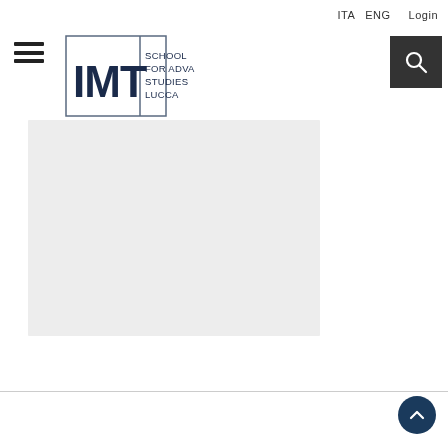ITA   ENG   Login
[Figure (logo): IMT School for Advanced Studies Lucca logo — block letters IMT with a square border and text reading SCHOOL FOR ADVANCED STUDIES LUCCA to the right]
[Figure (other): Hamburger menu icon — three horizontal lines]
[Figure (other): Search button — dark square with magnifying glass icon]
[Figure (photo): Light grey rectangular content/image placeholder area]
[Figure (other): Scroll-to-top circular button with upward chevron arrow on dark navy background]